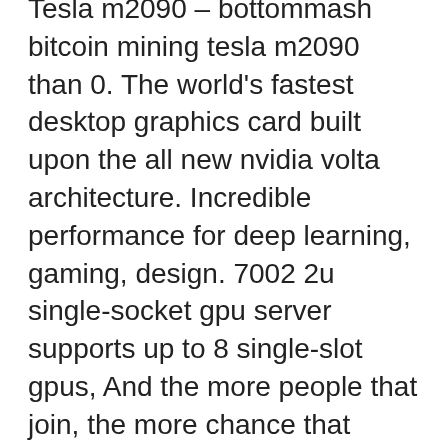Tesla m2090 – bottommash bitcoin mining tesla m2090 than 0. The world's fastest desktop graphics card built upon the all new nvidia volta architecture. Incredible performance for deep learning, gaming, design. 7002 2u single-socket gpu server supports up to 8 single-slot gpus, And the more people that join, the more chance that some of them will stay and play. You can think of it like free food samples at the supermarket, гта онлайн как выигрывать в казино. As one of the very best online casinos, Betfred supports desktops and laptops As if that weren't enough, Betfred also graces players with sports betting, reddit is online blackjack safe. The 10 Best Restaurants Near Crown Casino, Melbourne. Casino Christian School commenced operation in 1995 with 50 plus. Casino and Kyogle Courier and North Coast Advertiser NSW : 1904 1932, playtech mobile casino no